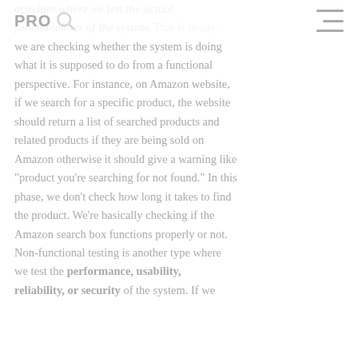PRO [logo with magnifier icon] [hamburger menu]
activities where we test the actual functionalities of the system. That is to say, we are checking whether the system is doing what it is supposed to do from a functional perspective. For instance, on Amazon website, if we search for a specific product, the website should return a list of searched products and related products if they are being sold on Amazon otherwise it should give a warning like "product you're searching for not found." In this phase, we don't check how long it takes to find the product. We're basically checking if the Amazon search box functions properly or not.
Non-functional testing is another type where we test the performance, usability, reliability, or security of the system. If we